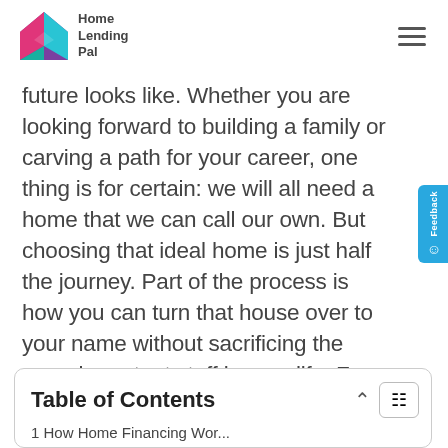Home Lending Pal
future looks like. Whether you are looking forward to building a family or carving a path for your career, one thing is for certain: we will all need a home that we can call our own. But choosing that ideal home is just half the journey. Part of the process is how you can turn that house over to your name without sacrificing the more important stuff in your life. For this reason, many people choose to finance their houses through home loans.
Table of Contents